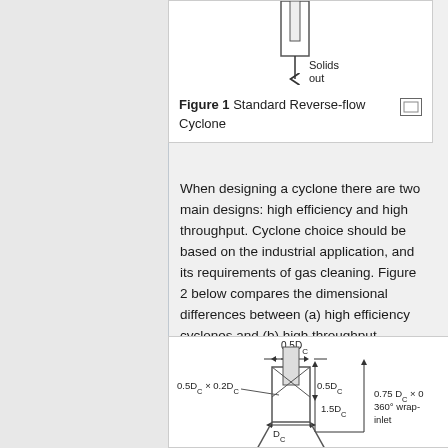[Figure (engineering-diagram): Top portion of Standard Reverse-flow Cyclone diagram showing solids outlet with downward arrow labeled 'Solids out']
Figure 1 Standard Reverse-flow Cyclone
When designing a cyclone there are two main designs: high efficiency and high throughput. Cyclone choice should be based on the industrial application, and its requirements of gas cleaning. Figure 2 below compares the dimensional differences between (a) high efficiency cyclones and (b) high throughput cyclones.
[Figure (engineering-diagram): Cyclone dimensional diagram showing 0.5D_C width at top, 0.5D_C × 0.2D_C inlet label, 0.5D_C height dimension, 1.5D_C height dimension, D_C body diameter, and 0.75 D_C × ... 360° wrap-around inlet label at right]